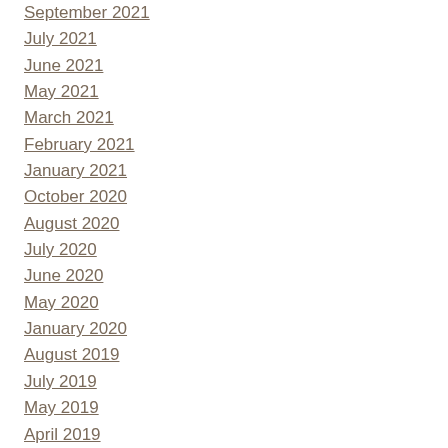September 2021
July 2021
June 2021
May 2021
March 2021
February 2021
January 2021
October 2020
August 2020
July 2020
June 2020
May 2020
January 2020
August 2019
July 2019
May 2019
April 2019
March 2019
January 2019